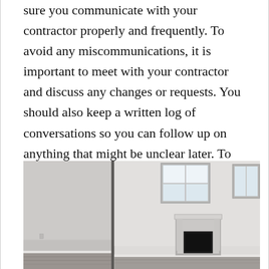sure you communicate with your contractor properly and frequently. To avoid any miscommunications, it is important to meet with your contractor and discuss any changes or requests. You should also keep a written log of conversations so you can follow up on anything that might be unclear later. To clarify any questions, call your contractor. You’ll both be able to confirm that everything is in writing.
[Figure (photo): Interior photo of an empty room with light gray walls, hardwood floors, a white fireplace surround with a dark firebox opening, and two windows letting in bright light. The image appears to be composed of two adjacent photos side by side.]